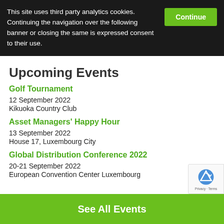This site uses third party analytics cookies. Continuing the navigation over the following banner or closing the same is expressed consent to their use.
Upcoming Events
Golf Tournament
12 September 2022
Kikuoka Country Club
Asset Managers' Happy Hour
13 September 2022
House 17, Luxembourg City
Global Distribution Conference 2022
20-21 September 2022
European Convention Center Luxembourg
See All Events